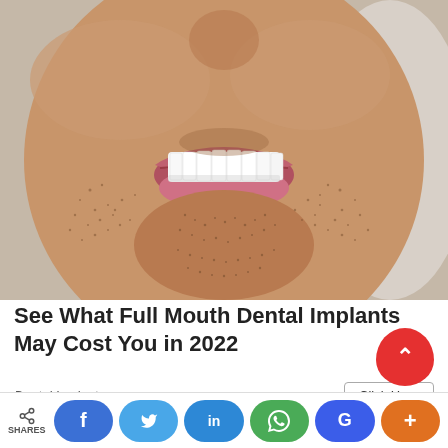[Figure (photo): Close-up photo of a man smiling showing white teeth, with stubble beard, cropped to show lower face and mouth area]
See What Full Mouth Dental Implants May Cost You in 2022
Dental Implants
Click Here
SHARES | f | (twitter bird) | in | (whatsapp) | G | +